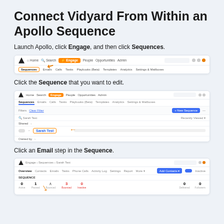Connect Vidyard From Within an Apollo Sequence
Launch Apollo, click Engage, and then click Sequences.
[Figure (screenshot): Apollo interface showing navigation bar with Engage highlighted in orange and Sequences tab highlighted with orange border in the sub-navigation]
Click the Sequence that you want to edit.
[Figure (screenshot): Apollo Sequences list page showing a sequence named 'Sarah Test' highlighted with an orange arrow pointing to it]
Click an Email step in the Sequence.
[Figure (screenshot): Apollo sequence detail page showing the sequence overview with stats and steps, with an orange arrow pointing to an Email step]